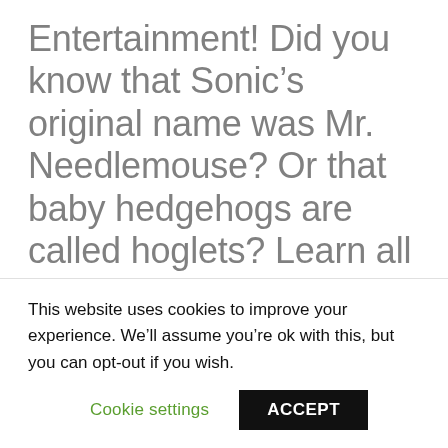Entertainment! Did you know that Sonic's original name was Mr. Needlemouse? Or that baby hedgehogs are called hoglets? Learn all about Sonic and the adorable real-world creatures he's based on with the… [Watch SONIC
This website uses cookies to improve your experience. We'll assume you're ok with this, but you can opt-out if you wish.
Cookie settings   ACCEPT